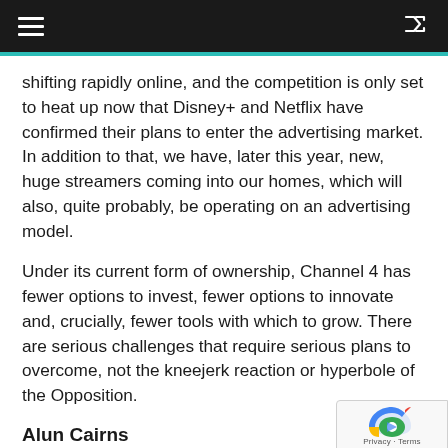shifting rapidly online, and the competition is only set to heat up now that Disney+ and Netflix have confirmed their plans to enter the advertising market. In addition to that, we have, later this year, new, huge streamers coming into our homes, which will also, quite probably, be operating on an advertising model.
Under its current form of ownership, Channel 4 has fewer options to invest, fewer options to innovate and, crucially, fewer tools with which to grow. There are serious challenges that require serious plans to overcome, not the kneejerk reaction or hyperbole of the Opposition.
Alun Cairns